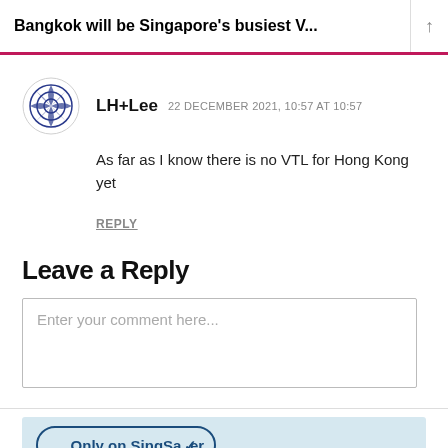Bangkok will be Singapore's busiest V...
LH+Lee   22 DECEMBER 2021, 10:57 AT 10:57
As far as I know there is no VTL for Hong Kong yet
REPLY
Leave a Reply
Enter your comment here...
[Figure (other): Only on SingSaver button/banner at bottom of page]